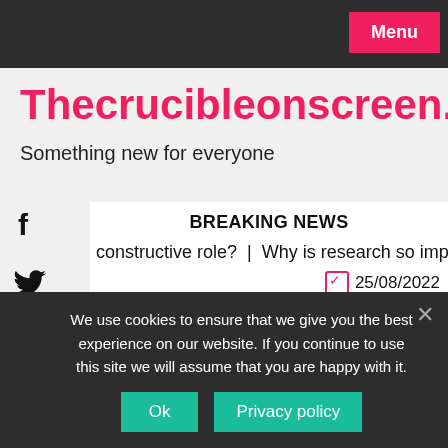Menu
Thecrucibleonscreen.com
Something new for everyone
BREAKING NEWS
constructive role?  |  Why is research so important?  |  Did A…
25/08/2022
We use cookies to ensure that we give you the best experience on our website. If you continue to use this site we will assume that you are happy with it.
Ok
Privacy policy